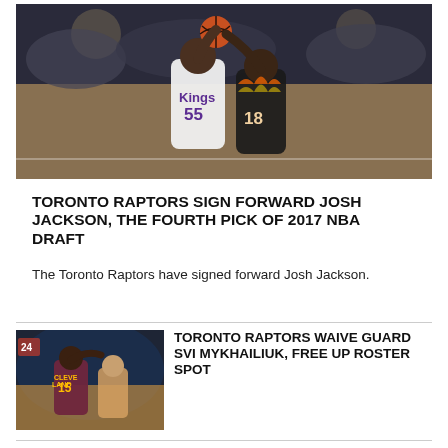[Figure (photo): Basketball game photo: Sacramento Kings player #55 going up for a shot against Phoenix Suns player #18]
TORONTO RAPTORS SIGN FORWARD JOSH JACKSON, THE FOURTH PICK OF 2017 NBA DRAFT
The Toronto Raptors have signed forward Josh Jackson.
[Figure (photo): Basketball game photo: Cleveland Cavaliers player #15 defending against a player]
TORONTO RAPTORS WAIVE GUARD SVI MYKHAILIUK, FREE UP ROSTER SPOT